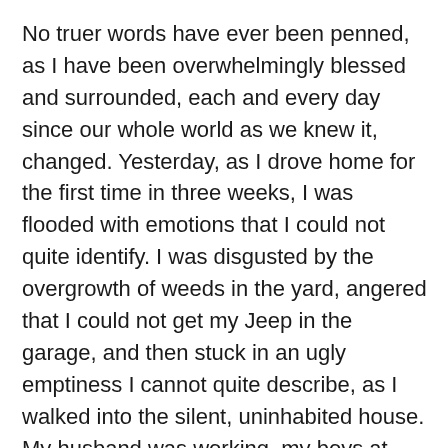No truer words have ever been penned, as I have been overwhelmingly blessed and surrounded, each and every day since our whole world as we knew it, changed. Yesterday, as I drove home for the first time in three weeks, I was flooded with emotions that I could not quite identify. I was disgusted by the overgrowth of weeds in the yard, angered that I could not get my Jeep in the garage, and then stuck in an ugly emptiness I cannot quite describe, as I walked into the silent, uninhabited house. My husband was working, my boys at school, and my bonus son, upstairs sleeping soundly. There was no greeting; nothing to make me feel glad to be home, only